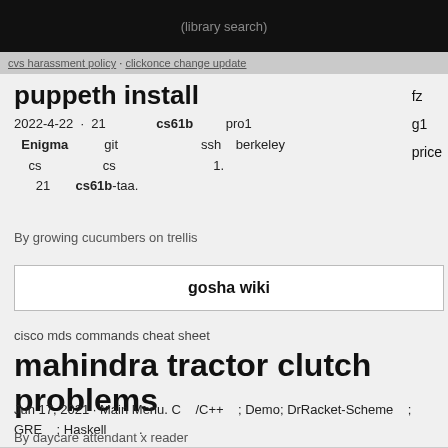puppeth install
2022-4-22 · 21   cs61b   pro1
Enigma   git   ssh   berkeley
cs   cs   1.
21   cs61b-taa.
By growing cucumbers on trellis
fz
g1
price
gosha wiki
cisco mds commands cheat sheet
mahindra tractor clutch problems
Jun 17, 2021 · Main Menu. C   /C++   ; Demo; DrRacket-Scheme   ; GRE   ; Haskell        .
By daycare attendant x reader